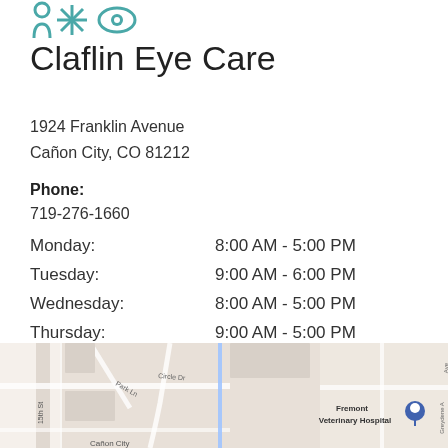[Figure (logo): Teal colored icons resembling a person, snowflake/asterisk, and eye symbol]
Claflin Eye Care
1924 Franklin Avenue
Cañon City, CO 81212
Phone:
719-276-1660
| Day | Hours |
| --- | --- |
| Monday: | 8:00 AM - 5:00 PM |
| Tuesday: | 9:00 AM - 6:00 PM |
| Wednesday: | 8:00 AM - 5:00 PM |
| Thursday: | 9:00 AM - 5:00 PM |
| Friday: | 8:00 AM - 5:00 PM |
| Saturday: | Closed |
| Sunday: | Closed |
[Figure (map): Street map showing location near Fremont Veterinary Hospital in Cañon City, CO with a map pin marker]